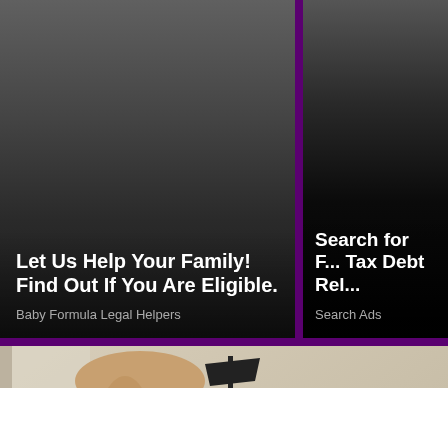[Figure (infographic): Advertisement card with dark gradient background. Title: 'Let Us Help Your Family! Find Out If You Are Eligible.' Source: 'Baby Formula Legal Helpers']
Let Us Help Your Family! Find Out If You Are Eligible.
Baby Formula Legal Helpers
[Figure (infographic): Advertisement card with dark/black gradient background (partially visible, cropped). Title: 'Search for F... Tax Debt Rel...' Source: 'Search Ads']
Search for F... Tax Debt Rel...
Search Ads
[Figure (photo): Photo of a tan/caramel leather recliner chair with matching ottoman in a modern living room setting. Background shows a minimalist interior with a black floor lamp, a decorative dried grass arrangement, a side table with a bowl and small decorative objects.]